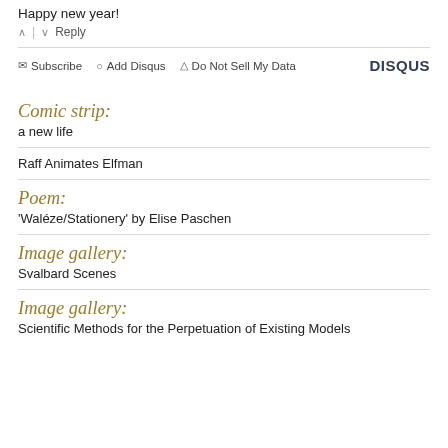Happy new year!
^ | v  Reply
Subscribe  Add Disqus  Do Not Sell My Data  DISQUS
Comic strip:
a new life
Raff Animates Elfman
Poem:
'Waléze/Stationery' by Elise Paschen
Image gallery:
Svalbard Scenes
Image gallery:
Scientific Methods for the Perpetuation of Existing Models